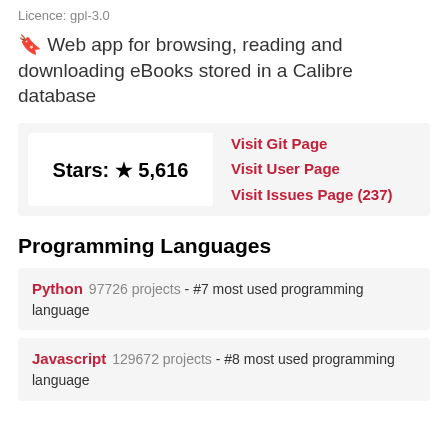Licence: gpl-3.0
🔖 Web app for browsing, reading and downloading eBooks stored in a Calibre database
| Stars: ★ 5,616 | Visit Git Page
Visit User Page
Visit Issues Page (237) |
Programming Languages
Python  97726 projects - #7 most used programming language
Javascript  129672 projects - #8 most used programming language